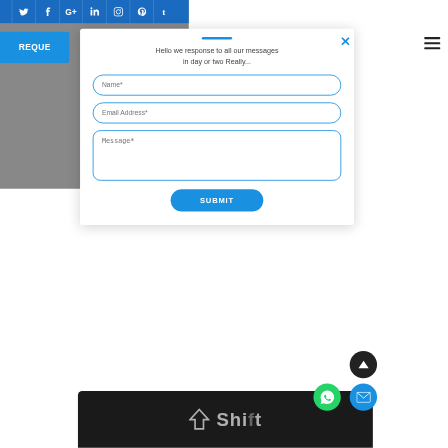[Figure (screenshot): Website contact form modal popup over a gray background. Top blue social media bar with Twitter, Facebook, Google+, LinkedIn, Instagram, Pinterest, Tumblr icons. Blue REQUE(ST) button partially visible on left. Hamburger menu on right. Modal with blue accent line, greeting text, Name*, Email Address*, Message* fields, and SUBMIT button. Bottom shows keyboard Shift key image. WhatsApp, mail, and scroll-up circular buttons at bottom right.]
Hello we response to all our messages in day or two Really...
Name*
Email Address*
Message*
SUBMIT